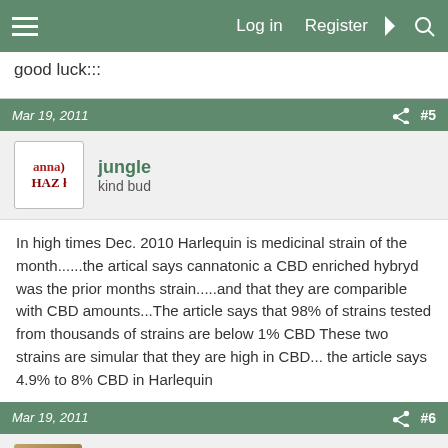Log in  Register
good luck:::
Mar 19, 2011  #5
jungle
kind bud
In high times Dec. 2010 Harlequin is medicinal strain of the month......the artical says cannatonic a CBD enriched hybryd was the prior months strain.....and that they are comparible with CBD amounts...The article says that 98% of strains tested from thousands of strains are below 1% CBD These two strains are simular that they are high in CBD... the article says 4.9% to 8% CBD in Harlequin
Mar 19, 2011  #6
Ranek Icewalker